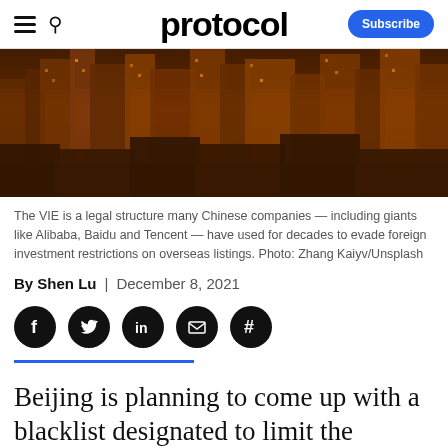protocol — Subscribe
[Figure (photo): Aerial view of a city skyline at night with an orange/amber color filter, showing dense high-rise buildings.]
The VIE is a legal structure many Chinese companies — including giants like Alibaba, Baidu and Tencent — have used for decades to evade foreign investment restrictions on overseas listings. Photo: Zhang Kaiyv/Unsplash
By Shen Lu | December 8, 2021
[Figure (other): Social share icons: Facebook, Twitter, LinkedIn, Email, Hashtag]
Beijing is planning to come up with a blacklist designated to limit the primary way in which